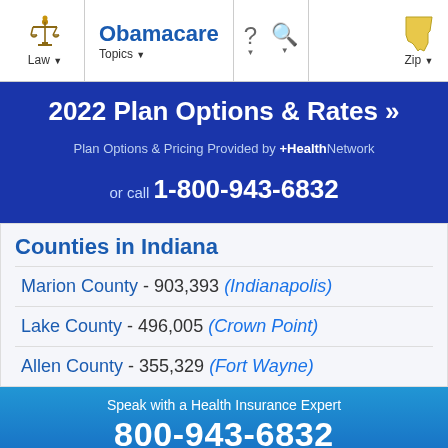Law | Obamacare Topics | ? | Search | Zip
2022 Plan Options & Rates »
Plan Options & Pricing Provided by +HealthNetwork
or call 1-800-943-6832
Counties in Indiana
Marion County - 903,393 (Indianapolis)
Lake County - 496,005 (Crown Point)
Allen County - 355,329 (Fort Wayne)
Speak with a Health Insurance Expert
800-943-6832
Ads by +HealthNetwork